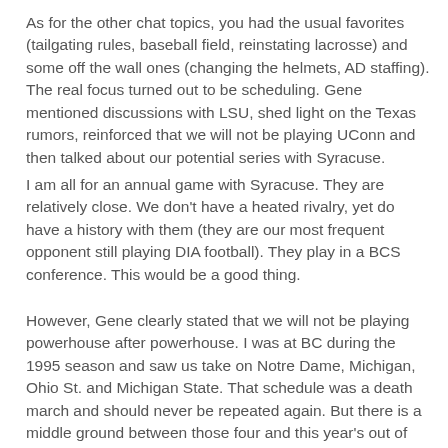As for the other chat topics, you had the usual favorites (tailgating rules, baseball field, reinstating lacrosse) and some off the wall ones (changing the helmets, AD staffing). The real focus turned out to be scheduling. Gene mentioned discussions with LSU, shed light on the Texas rumors, reinforced that we will not be playing UConn and then talked about our potential series with Syracuse.
I am all for an annual game with Syracuse. They are relatively close. We don't have a heated rivalry, yet do have a history with them (they are our most frequent opponent still playing DIA football). They play in a BCS conference. This would be a good thing.
However, Gene clearly stated that we will not be playing powerhouse after powerhouse. I was at BC during the 1995 season and saw us take on Notre Dame, Michigan, Ohio St. and Michigan State. That schedule was a death march and should never be repeated again. But there is a middle ground between those four and this year's out of conference